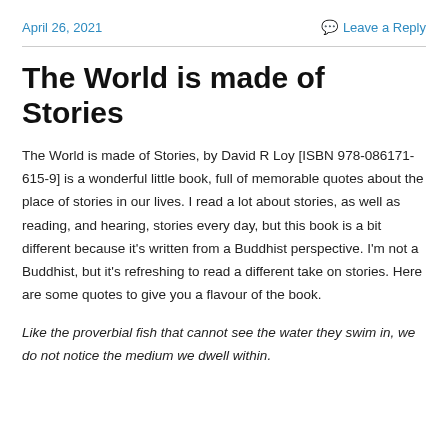April 26, 2021
Leave a Reply
The World is made of Stories
The World is made of Stories, by David R Loy [ISBN 978-086171-615-9] is a wonderful little book, full of memorable quotes about the place of stories in our lives. I read a lot about stories, as well as reading, and hearing, stories every day, but this book is a bit different because it's written from a Buddhist perspective. I'm not a Buddhist, but it's refreshing to read a different take on stories. Here are some quotes to give you a flavour of the book.
Like the proverbial fish that cannot see the water they swim in, we do not notice the medium we dwell within.